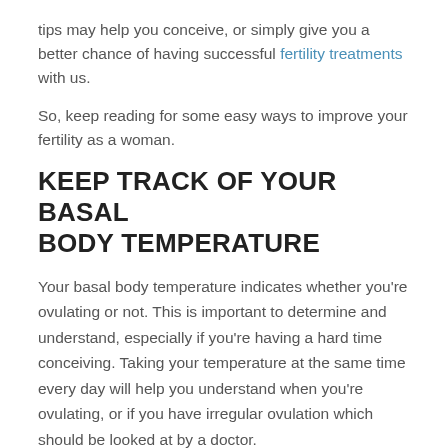tips may help you conceive, or simply give you a better chance of having successful fertility treatments with us.
So, keep reading for some easy ways to improve your fertility as a woman.
KEEP TRACK OF YOUR BASAL BODY TEMPERATURE
Your basal body temperature indicates whether you're ovulating or not. This is important to determine and understand, especially if you're having a hard time conceiving. Taking your temperature at the same time every day will help you understand when you're ovulating, or if you have irregular ovulation which should be looked at by a doctor.
CERVICAL MUCUS